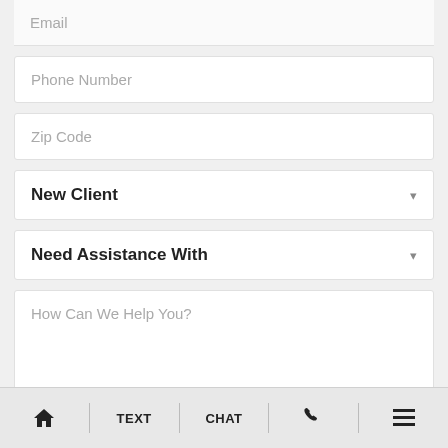Email
Phone Number
Zip Code
New Client
Need Assistance With
How Can We Help You?
Get Your Free Case Review
HOME | TEXT | CHAT | PHONE | MENU